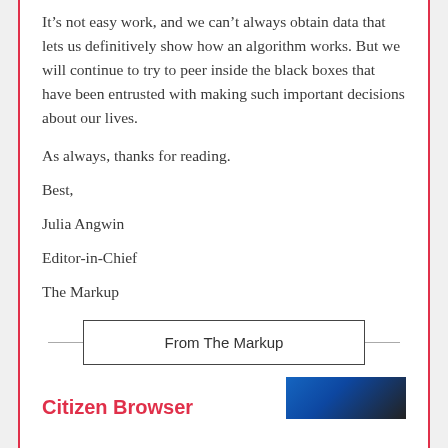It’s not easy work, and we can’t always obtain data that lets us definitively show how an algorithm works. But we will continue to try to peer inside the black boxes that have been entrusted with making such important decisions about our lives.
As always, thanks for reading.
Best,
Julia Angwin
Editor-in-Chief
The Markup
From The Markup
Citizen Browser